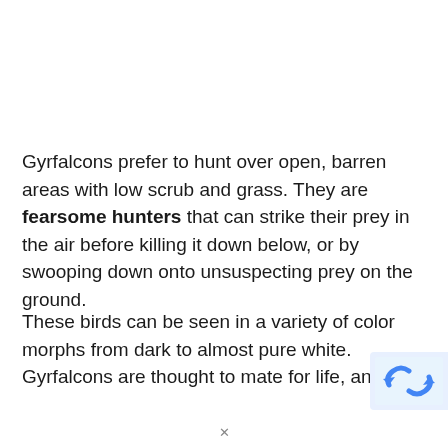Gyrfalcons prefer to hunt over open, barren areas with low scrub and grass. They are fearsome hunters that can strike their prey in the air before killing it down below, or by swooping down onto unsuspecting prey on the ground.
These birds can be seen in a variety of color morphs from dark to almost pure white. Gyrfalcons are thought to mate for life, and like [text cut off]